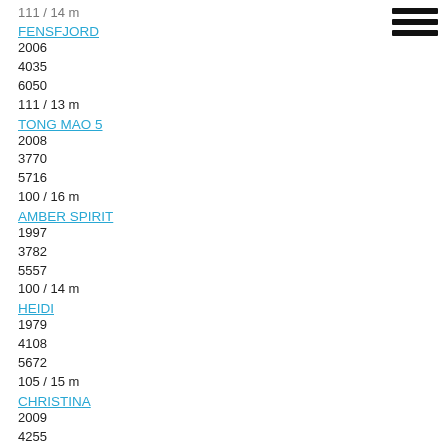111 / 14 m (truncated top)
FENSFJORD
2006
4035
6050
111 / 13 m
TONG MAO 5
2008
3770
5716
100 / 16 m
AMBER SPIRIT
1997
3782
5557
100 / 14 m
HEIDI
1979
4108
5672
105 / 15 m
CHRISTINA
2009
4255
6050
114 / 14 m
JOHANN
2012
4255